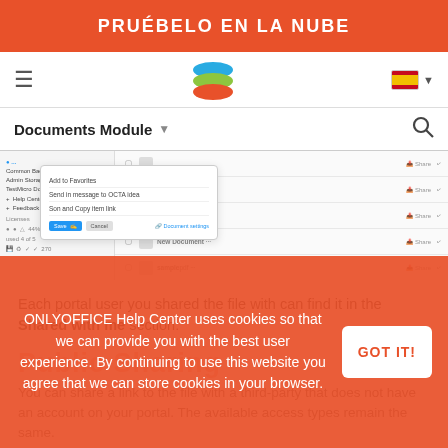PRUÉBELO EN LA NUBE
[Figure (screenshot): ONLYOFFICE navigation bar with hamburger menu, layered logo icon, and Spanish language flag selector]
[Figure (screenshot): Documents Module header with search icon and a file sharing dialog showing share options including 'Send in message to OCTA idea', 'Son and Copy item link' with Save and Cancel buttons, and document rows including New Document and sample entries with Share buttons]
Each portal user you shared the file with can find it in the Shared with me section.
Public Sharing
You can share a link to the file with a third-party that does not have an account on your portal. The available access types remain the same.
ONLYOFFICE Help Center uses cookies so that we can provide you with the best user experience. By continuing to use this website you agree that we can store cookies in your browser.
GOT IT!